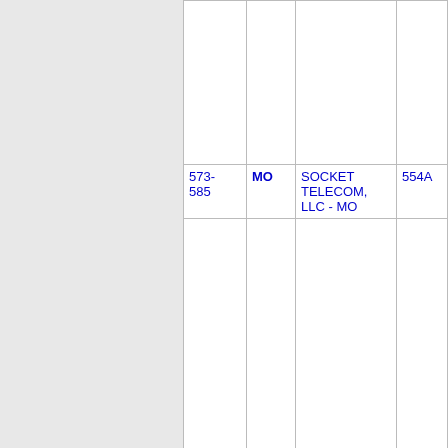| NPA-NXX | State | Company | OCN | City |
| --- | --- | --- | --- | --- |
| 573-
585 | MO | SOCKET TELECOM, LLC - MO | 554A | ELLSINORE |
| Thousands block for 573-585 |  |  |  |  |
| 573-
585-
1 | MO | SOCKET TELECOM, LLC - MO | 554A | ELLSINORE |